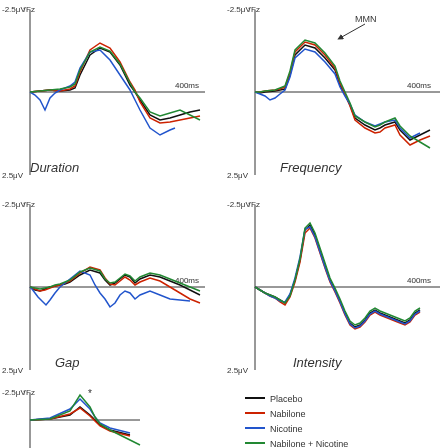[Figure (continuous-plot): ERP waveform at Fz electrode for Duration deviant, 4 overlapping lines (Placebo black, Nabilone red, Nicotine blue, Nabilone+Nicotine green), y-axis -2.5uV to 2.5uV, x-axis to 400ms]
Duration
[Figure (continuous-plot): ERP waveform at Fz electrode for Frequency deviant with MMN label, 4 overlapping lines (Placebo black, Nabilone red, Nicotine blue, Nabilone+Nicotine green), y-axis -2.5uV to 2.5uV, x-axis to 400ms]
Frequency
[Figure (continuous-plot): ERP waveform at Fz electrode for Gap deviant, 4 overlapping lines (Placebo black, Nabilone red, Nicotine blue, Nabilone+Nicotine green), y-axis -2.5uV to 2.5uV, x-axis to 400ms]
Gap
[Figure (continuous-plot): ERP waveform at Fz electrode for Intensity deviant, 4 overlapping lines (Placebo black, Nabilone red, Nicotine blue, Nabilone+Nicotine green), y-axis -2.5uV to 2.5uV, x-axis to 400ms]
Intensity
[Figure (continuous-plot): ERP waveform at Fz electrode for a fifth deviant condition (bottom left), with asterisk marking peak, 4 overlapping lines]
[Figure (infographic): Legend showing 4 colored lines: Placebo (black), Nabilone (red), Nicotine (blue), Nabilone + Nicotine (green)]